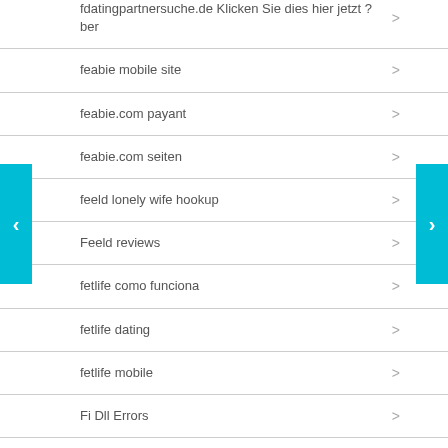fdatingpartnersuche.de Klicken Sie dies hier jetzt ?ber
feabie mobile site
feabie.com payant
feabie.com seiten
feeld lonely wife hookup
Feeld reviews
fetlife como funciona
fetlife dating
fetlife mobile
Fi Dll Errors
File Extentions